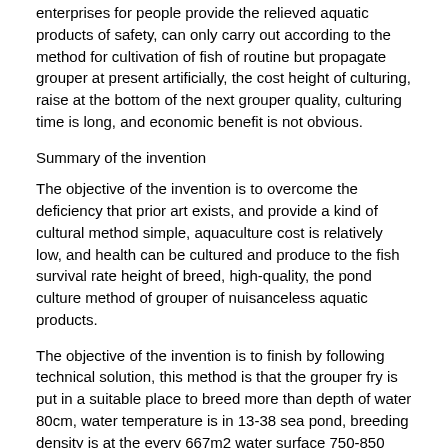enterprises for people provide the relieved aquatic products of safety, can only carry out according to the method for cultivation of fish of routine but propagate grouper at present artificially, the cost height of culturing, raise at the bottom of the next grouper quality, culturing time is long, and economic benefit is not obvious.
Summary of the invention
The objective of the invention is to overcome the deficiency that prior art exists, and provide a kind of cultural method simple, aquaculture cost is relatively low, and health can be cultured and produce to the fish survival rate height of breed, high-quality, the pond culture method of grouper of nuisanceless aquatic products.
The objective of the invention is to finish by following technical solution, this method is that the grouper fry is put in a suitable place to breed more than depth of water 80cm, water temperature is in 13-38 sea pond, breeding density is at the every 667m2 water surface 750-850 tails, in the process of putting in a suitable place to breed every day the bait secondary of throwing something and feeding at least, the amount of bait of throwing something and